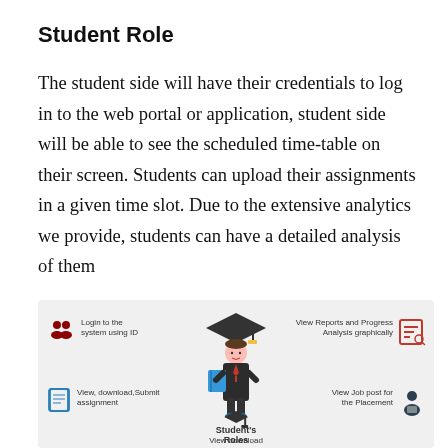Student Role
The student side will have their credentials to log in to the web portal or application, student side will be able to see the scheduled time-table on their screen. Students can upload their assignments in a given time slot. Due to the extensive analytics we provide, students can have a detailed analysis of them
[Figure (infographic): Infographic showing Student's Roles with a central student figure wearing graduation cap and gown holding a book, surrounded by four role labels: 'Login to the system using ID' (top-left with people icon), 'View Reports and Progress Analysis graphically' (top-right with report icon), 'View, download, Submit assignment' (bottom-left with document icon), 'View Job post for the Placement' (bottom-right with person icon), and 'View download' (bottom center with graduation cap icon).]